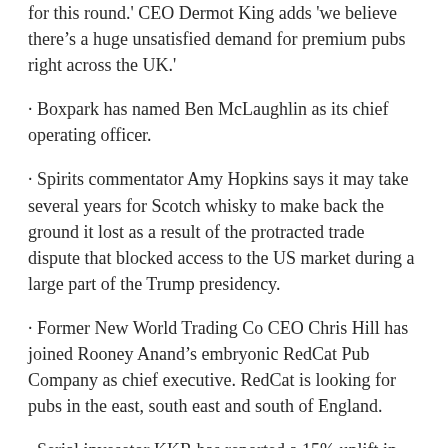for this round.' CEO Dermot King adds 'we believe there's a huge unsatisfied demand for premium pubs right across the UK.'
Boxpark has named Ben McLaughlin as its chief operating officer.
Spirits commentator Amy Hopkins says it may take several years for Scotch whisky to make back the ground it lost as a result of the protracted trade dispute that blocked access to the US market during a large part of the Trump presidency.
Former New World Trading Co CEO Chris Hill has joined Rooney Anand's embryonic RedCat Pub Company as chief executive. RedCat is looking for pubs in the east, south east and south of England.
Serial invesetor KKR has reported a 15% uplift in Q4 earnings.
Wine retailer 28º–50º is to take on the